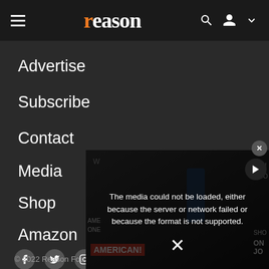reason
Advertise
Subscribe
Contact
Media
Shop
Amazon
[Figure (screenshot): Social media icons row: Facebook, Twitter, Instagram, and another icon]
[Figure (screenshot): Video player overlay showing error message: 'The media could not be loaded, either because the server or network failed or because the format is not supported.' With protest photo background showing signs reading AMERICAN! and ON.]
© 2022 Reason Fou